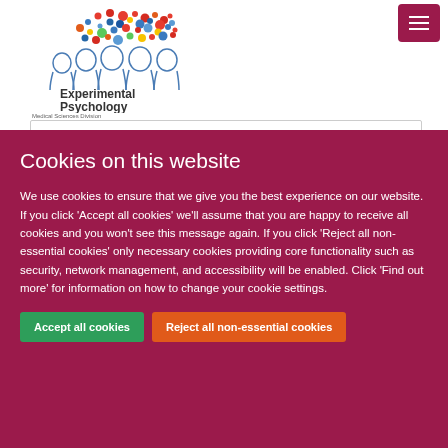[Figure (logo): Experimental Psychology, Medical Sciences Division logo with coloured dots and silhouette heads]
Cookies on this website
We use cookies to ensure that we give you the best experience on our website. If you click 'Accept all cookies' we'll assume that you are happy to receive all cookies and you won't see this message again. If you click 'Reject all non-essential cookies' only necessary cookies providing core functionality such as security, network management, and accessibility will be enabled. Click 'Find out more' for information on how to change your cookie settings.
Accept all cookies
Reject all non-essential cookies